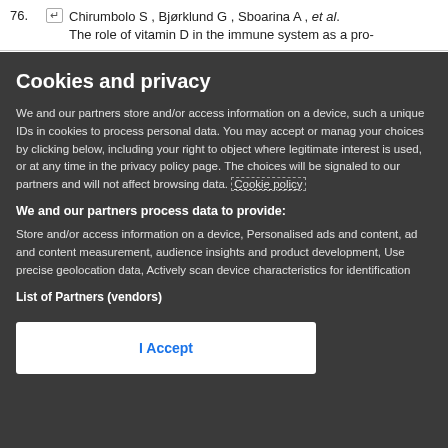76. [icon] Chirumbolo S , Bjørklund G , Sboarina A , et al. The role of vitamin D in the immune system as a pro-
Cookies and privacy
We and our partners store and/or access information on a device, such as unique IDs in cookies to process personal data. You may accept or manage your choices by clicking below, including your right to object where legitimate interest is used, or at any time in the privacy policy page. These choices will be signaled to our partners and will not affect browsing data. Cookie policy
We and our partners process data to provide:
Store and/or access information on a device, Personalised ads and content, ad and content measurement, audience insights and product development, Use precise geolocation data, Actively scan device characteristics for identification
List of Partners (vendors)
I Accept